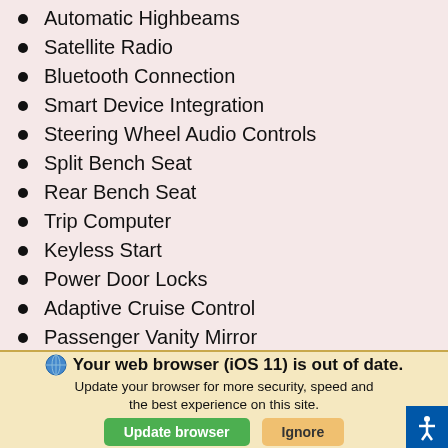Automatic Highbeams
Satellite Radio
Bluetooth Connection
Smart Device Integration
Steering Wheel Audio Controls
Split Bench Seat
Rear Bench Seat
Trip Computer
Keyless Start
Power Door Locks
Adaptive Cruise Control
Passenger Vanity Mirror
Power Windows
Power Door Locks
Your web browser (iOS 11) is out of date. Update your browser for more security, speed and the best experience on this site.